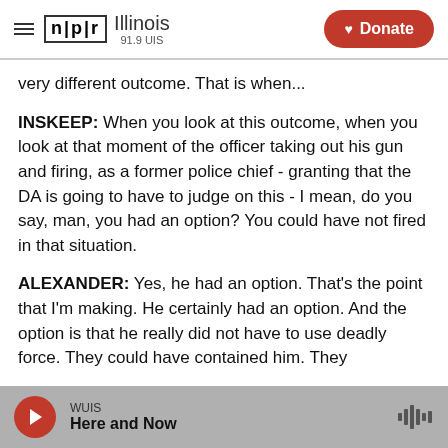NPR Illinois 91.9 UIS | Donate
very different outcome. That is when...
INSKEEP: When you look at this outcome, when you look at that moment of the officer taking out his gun and firing, as a former police chief - granting that the DA is going to have to judge on this - I mean, do you say, man, you had an option? You could have not fired in that situation.
ALEXANDER: Yes, he had an option. That's the point that I'm making. He certainly had an option. And the option is that he really did not have to use deadly force. They could have contained him. They
WUIS | Here and Now